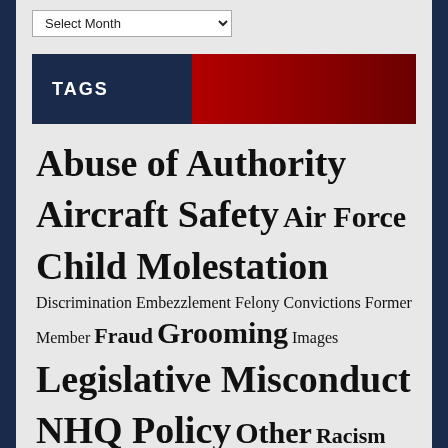Select Month (dropdown)
TAGS
Abuse of Authority Aircraft Safety Air Force Child Molestation Discrimination Embezzlement Felony Convictions Former Member Fraud Grooming Images Legislative Misconduct NHQ Policy Other Racism Rape Safety Sexual Harassment Stolen Valor Suicide Theft Waste Whistleblower Reprisal